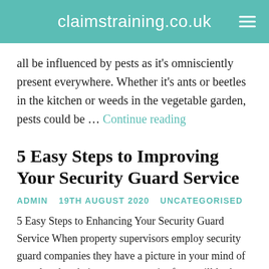claimstraining.co.uk
all be influenced by pests as it's omnisciently present everywhere. Whether it's ants or beetles in the kitchen or weeds in the vegetable garden, pests could be … Continue reading
5 Easy Steps to Improving Your Security Guard Service
ADMIN   19TH AUGUST 2020   UNCATEGORISED
5 Easy Steps to Enhancing Your Security Guard Service When property supervisors employ security guard companies they have a picture in your mind of exactly what their contract security force will look like, but also often what they get is not what they envisioned. What we